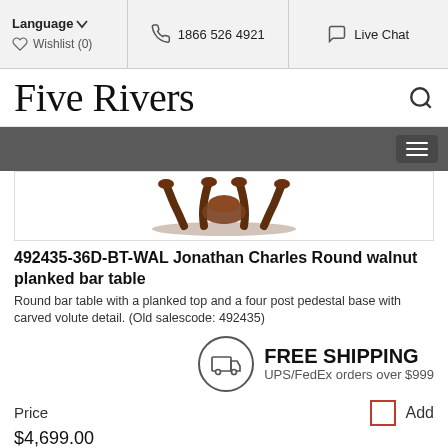Language | 1866 526 4921 | Live Chat | Wishlist (0)
Five Rivers
[Figure (screenshot): Navigation bar with hamburger menu icon on dark gray background]
[Figure (photo): Carved walnut pedestal base of a round bar table on white background]
492435-36D-BT-WAL Jonathan Charles Round walnut planked bar table
Round bar table with a planked top and a four post pedestal base with carved volute detail. (Old salescode: 492435)
FREE SHIPPING UPS/FedEx orders over $999
Price
Add
$4,699.00